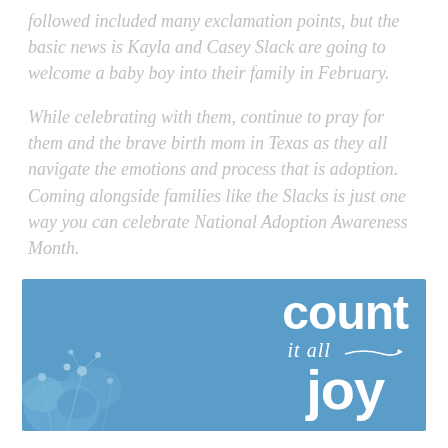followed included many exclamation points, but the basic news is Kayla and Casey Slack are going to welcome a baby boy into their family in February.
While celebrating with them, continue to pray for them and the brave birth mom in Texas as they all navigate the emotions and process that is adoption. Coming alongside families like the Slacks is just one way you can celebrate National Adoption Awareness Month.
[Figure (illustration): Blue banner image with white bold text reading 'count it all joy' in a stylized font, with plant/flower silhouettes on the left side.]